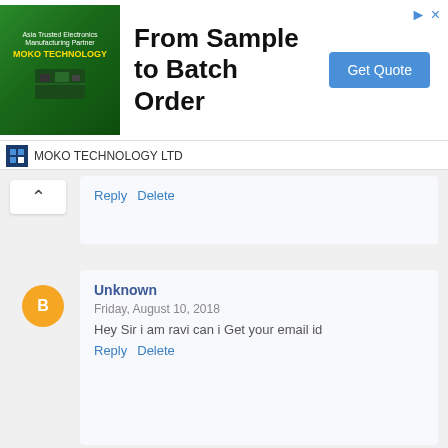[Figure (other): Advertisement banner for MOKO TECHNOLOGY LTD - From Sample to Batch Order with Get Quote button]
Reply  Delete
Unknown
Friday, August 10, 2018
Hey Sir i am ravi can i Get your email id
Reply  Delete
joe
Sunday, August 19, 2018